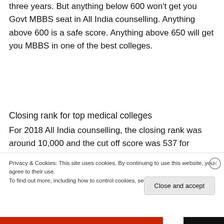three years. But anything below 600 won't get you Govt MBBS seat in All India counselling. Anything above 600 is a safe score. Anything above 650 will get you MBBS in one of the best colleges.
Closing rank for top medical colleges
For 2018 All India counselling, the closing rank was around 10,000 and the cut off score was 537 for general candidate. The top three students scored around 600
Privacy & Cookies: This site uses cookies. By continuing to use this website, you agree to their use.
To find out more, including how to control cookies, see here: Cookie Policy